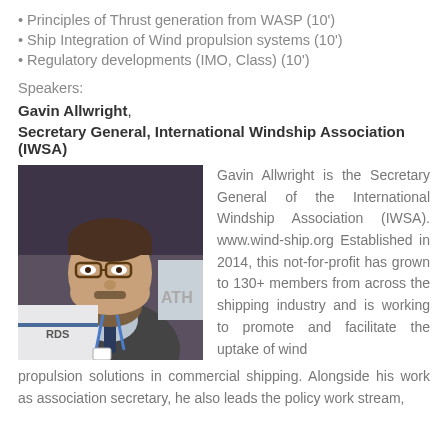Principles of Thrust generation from WASP (10')
Ship Integration of Wind propulsion systems (10')
Regulatory developments (IMO, Class) (10')
Speakers:
Gavin Allwright,
Secretary General, International Windship Association (IWSA)
[Figure (photo): Portrait photo of Gavin Allwright, a middle-aged man with glasses and a beard, wearing a suit and tie with a lanyard, photographed at an event.]
Gavin Allwright is the Secretary General of the International Windship Association (IWSA). www.wind-ship.org Established in 2014, this not-for-profit has grown to 130+ members from across the shipping industry and is working to promote and facilitate the uptake of wind propulsion solutions in commercial shipping. Alongside his work as association secretary, he also leads the policy work stream,